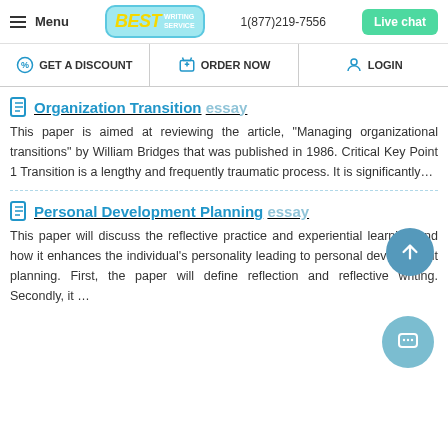Menu | BEST WRITING SERVICE | 1(877)219-7556 | Live chat
GET A DISCOUNT | ORDER NOW | LOGIN
Organization Transition essay
This paper is aimed at reviewing the article, “Managing organizational transitions” by William Bridges that was published in 1986. Critical Key Point 1 Transition is a lengthy and frequently traumatic process. It is significantly…
Personal Development Planning essay
This paper will discuss the reflective practice and experiential learning and how it enhances the individual’s personality leading to personal development planning. First, the paper will define reflection and reflective writing. Secondly, it …